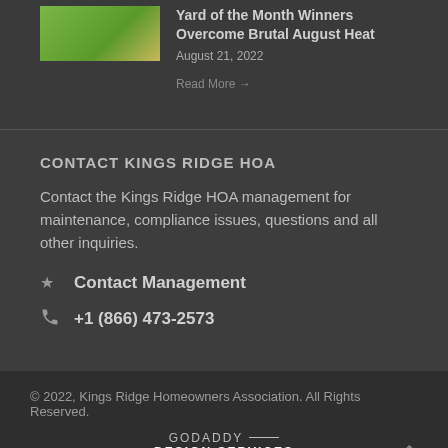[Figure (photo): Thumbnail image of a yard/garden, green and yellow tones]
Yard of the Month Winners Overcome Brutal August Heat
August 21, 2022
Read More →
CONTACT KINGS RIDGE HOA
Contact the Kings Ridge HOA management for maintenance, compliance issues, questions and all other inquiries.
Contact Management
+1 (866) 473-2573
© 2022, Kings Ridge Homeowners Association. All Rights Reserved.
GODADDY DESIGN SERVICES